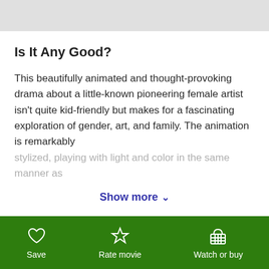Is It Any Good?
This beautifully animated and thought-provoking drama about a little-known pioneering female artist isn't quite kid-friendly but makes for a fascinating exploration of gender, art, and family. The animation is remarkably stylized, playing with light and color in the same manner as
Show more ∨
Talk to Your Kids About
Save  Rate movie  Watch or buy